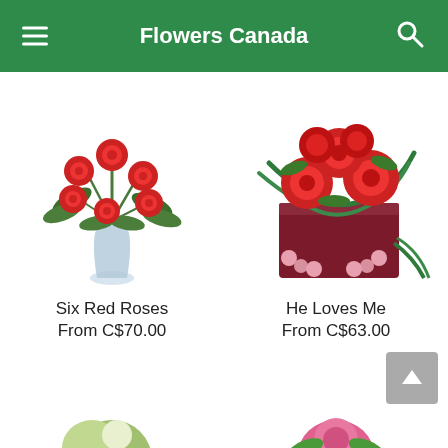Flowers Canada
[Figure (photo): Six red roses in a glass vase with green fern leaves]
Six Red Roses
From C$70.00
[Figure (photo): He Loves Me flower arrangement: red roses in a dark red box with pink wax flowers and green leaves]
He Loves Me
From C$63.00
[Figure (photo): Partial view of a green and white flower arrangement at bottom left]
[Figure (photo): Partial view of a pink rose arrangement at bottom right]